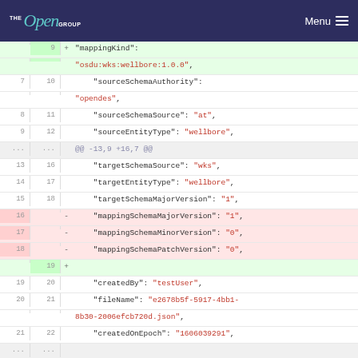The Open Group — Menu
[Figure (screenshot): Git diff view showing JSON mapping file changes. Lines 9-22 shown with old/new line numbers, +/- indicators, and syntax-highlighted JSON content. Removed lines (16-18) show mappingSchemaMajorVersion, mappingSchemaMinorVersion, mappingSchemaPatchVersion. Added line 19 is blank. Context lines show sourceSchemaAuthority, sourceSchemaSource, sourceEntityType, targetSchemaSource, targetEntityType, targetSchemaMajorVersion, createdBy, fileName, createdOnEpoch.]